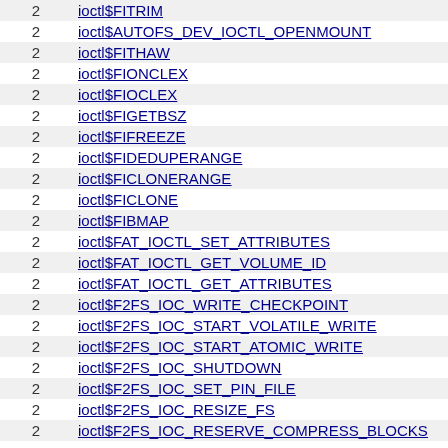|  |  |
| --- | --- |
| 2 | ioctl$FITRIM |
| 2 | ioctl$AUTOFS_DEV_IOCTL_OPENMOUNT |
| 2 | ioctl$FITHAW |
| 2 | ioctl$FIONCLEX |
| 2 | ioctl$FIOCLEX |
| 2 | ioctl$FIGETBSZ |
| 2 | ioctl$FIFREEZE |
| 2 | ioctl$FIDEDUPERANGE |
| 2 | ioctl$FICLONERANGE |
| 2 | ioctl$FICLONE |
| 2 | ioctl$FIBMAP |
| 2 | ioctl$FAT_IOCTL_SET_ATTRIBUTES |
| 2 | ioctl$FAT_IOCTL_GET_VOLUME_ID |
| 2 | ioctl$FAT_IOCTL_GET_ATTRIBUTES |
| 2 | ioctl$F2FS_IOC_WRITE_CHECKPOINT |
| 2 | ioctl$F2FS_IOC_START_VOLATILE_WRITE |
| 2 | ioctl$F2FS_IOC_START_ATOMIC_WRITE |
| 2 | ioctl$F2FS_IOC_SHUTDOWN |
| 2 | ioctl$F2FS_IOC_SET_PIN_FILE |
| 2 | ioctl$F2FS_IOC_RESIZE_FS |
| 2 | ioctl$F2FS_IOC_RESERVE_COMPRESS_BLOCKS |